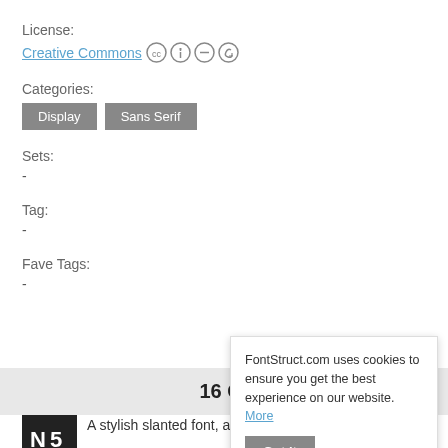License:
Creative Commons [CC icons]
Categories:
Display   Sans Serif
Sets:
-
Tag:
-
Fave Tags:
-
16 Comments
A stylish slanted font, an old old project from
FontStruct.com uses cookies to ensure you get the best experience on our website. More
Got it